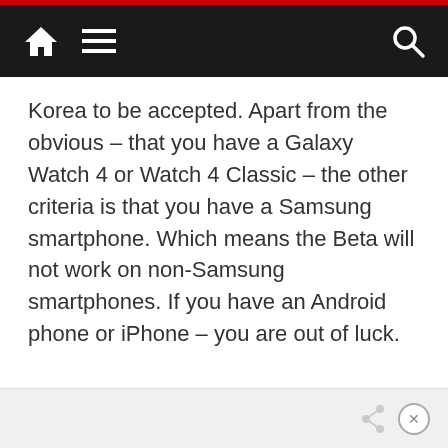Navigation bar with home, menu, and search icons
Korea to be accepted. Apart from the obvious – that you have a Galaxy Watch 4 or Watch 4 Classic – the other criteria is that you have a Samsung smartphone. Which means the Beta will not work on non-Samsung smartphones. If you have an Android phone or iPhone – you are out of luck.